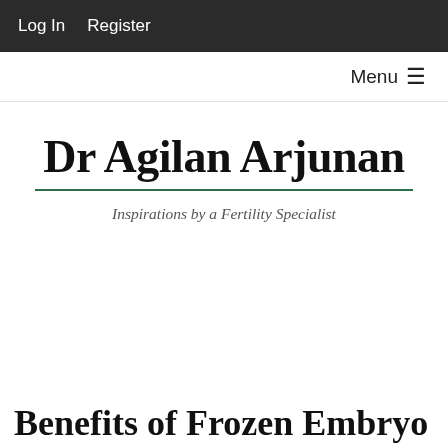Log In   Register
Menu ☰
Dr Agilan Arjunan
Inspirations by a Fertility Specialist
Benefits of Frozen Embryo